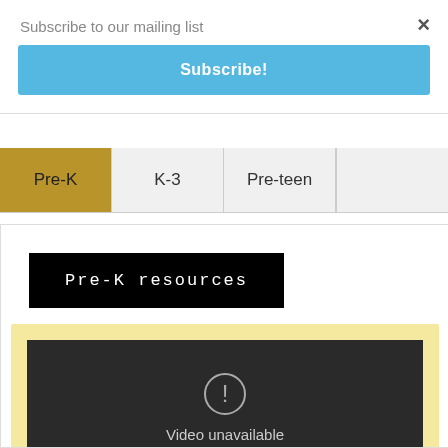Subscribe to our mailing list
×
Subscribe!
Pre-K
K-3
Pre-teen
Pre-K resources
[Figure (screenshot): Embedded video player showing 'Video unavailable - This video is unavailable' message on dark background with a warning circle icon]